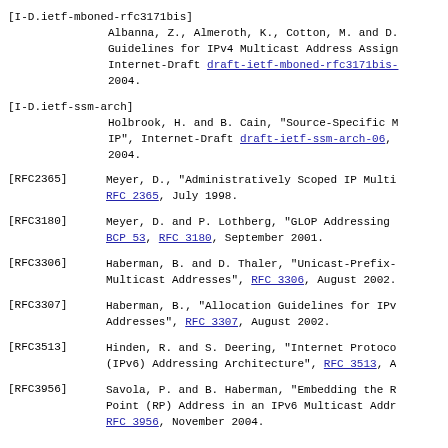[I-D.ietf-mboned-rfc3171bis] Albanna, Z., Almeroth, K., Cotton, M. and D. Guidelines for IPv4 Multicast Address Assignment, Internet-Draft draft-ietf-mboned-rfc3171bis-... 2004.
[I-D.ietf-ssm-arch] Holbrook, H. and B. Cain, "Source-Specific M IP", Internet-Draft draft-ietf-ssm-arch-06, 2004.
[RFC2365] Meyer, D., "Administratively Scoped IP Multi RFC 2365, July 1998.
[RFC3180] Meyer, D. and P. Lothberg, "GLOP Addressing BCP 53, RFC 3180, September 2001.
[RFC3306] Haberman, B. and D. Thaler, "Unicast-Prefix- Multicast Addresses", RFC 3306, August 2002.
[RFC3307] Haberman, B., "Allocation Guidelines for IPv Addresses", RFC 3307, August 2002.
[RFC3513] Hinden, R. and S. Deering, "Internet Protocol (IPv6) Addressing Architecture", RFC 3513, A
[RFC3956] Savola, P. and B. Haberman, "Embedding the R Point (RP) Address in an IPv6 Multicast Addr RFC 3956, November 2004.